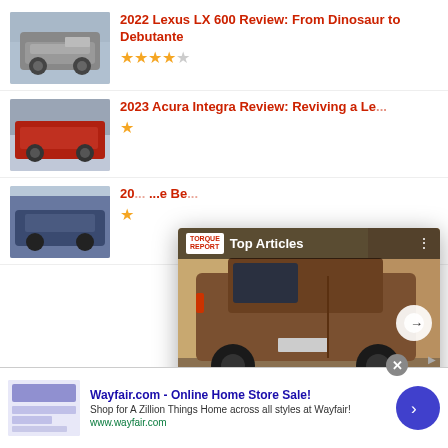[Figure (photo): Lexus LX 600 silver SUV driving on a road]
2022 Lexus LX 600 Review: From Dinosaur to Debutante
★★★★☆
[Figure (photo): 2023 Acura Integra red car on a road]
2023 Acura Integra Review: Reviving a Le...
★
[Figure (photo): Dark blue SUV in parking area]
20... ...e Be...
★
[Figure (photo): 2023 Range Rover SV Carmel Edition bronze/brown luxury SUV rear three-quarter view]
2023 Range Rover SV Carmel Editionpriced at $346,475 - The Torque Report
Wayfair.com - Online Home Store Sale! Shop for A Zillion Things Home across all styles at Wayfair! www.wayfair.com